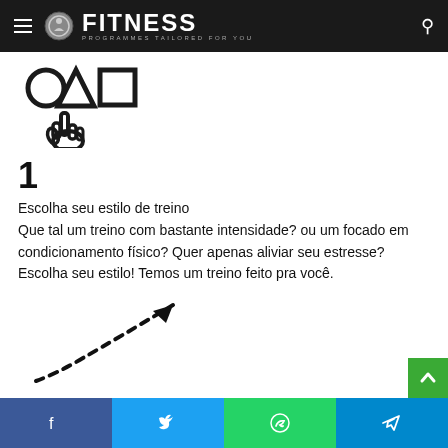FITNESS — PROGRAMMES TAILORED FOR YOU
[Figure (illustration): Icon showing a circle, triangle, and square with a hand/cursor pointing at them, representing category selection.]
1
Escolha seu estilo de treino
Que tal um treino com bastante intensidade? ou um focado em condicionamento físico? Quer apenas aliviar seu estresse? Escolha seu estilo! Temos um treino feito pra você.
[Figure (illustration): Dashed curved arrow pointing upward to the right, indicating progression or upward trend.]
Facebook | Twitter | WhatsApp | Telegram social share buttons